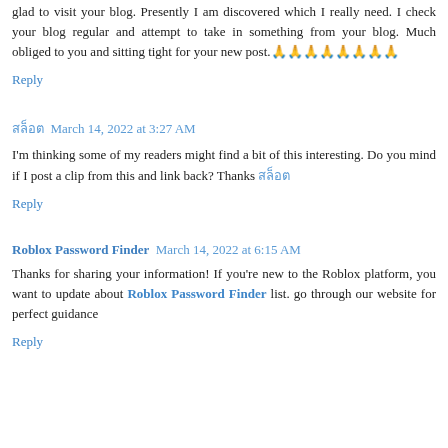glad to visit your blog. Presently I am discovered which I really need. I check your blog regular and attempt to take in something from your blog. Much obliged to you and sitting tight for your new post.🙏🙏🙏🙏🙏🙏🙏🙏
Reply
สล็อต  March 14, 2022 at 3:27 AM
I'm thinking some of my readers might find a bit of this interesting. Do you mind if I post a clip from this and link back? Thanks สล็อต
Reply
Roblox Password Finder  March 14, 2022 at 6:15 AM
Thanks for sharing your information! If you're new to the Roblox platform, you want to update about Roblox Password Finder list. go through our website for perfect guidance
Reply